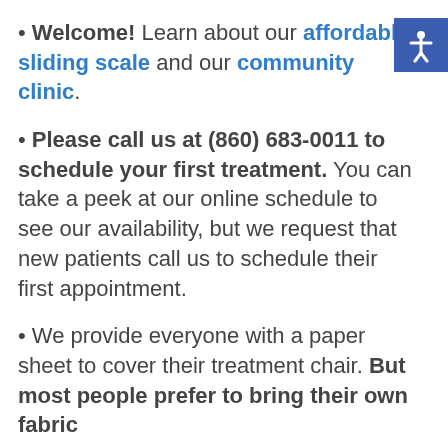Welcome! Learn about our affordable sliding scale and our community clinic.
Please call us at (860) 683-0011 to schedule your first treatment. You can take a peek at our online schedule to see our availability, but we request that new patients call us to schedule their first appointment.
We provide everyone with a paper sheet to cover their treatment chair. But most people prefer to bring their own fabric